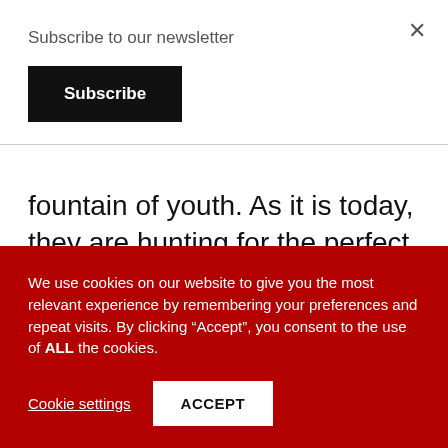Subscribe to our newsletter
Subscribe
fountain of youth. As it is today, they are hunting for the perfect flavour combos to match perfect memories.
It's a really nice way of looking at food.
We use cookies on our website to give you the most relevant experience by remembering your preferences and repeat visits. By clicking “Accept”, you consent to the use of ALL the cookies.
Cookie settings
ACCEPT